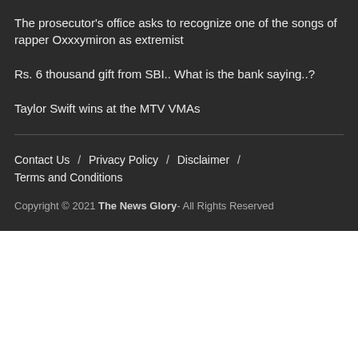The prosecutor's office asks to recognize one of the songs of rapper Oxxxymiron as extremist
Rs. 6 thousand gift from SBI.. What is the bank saying..?
Taylor Swift wins at the MTV VMAs
Contact Us  /  Privacy Policy  /  Disclaimer  /  Terms and Conditions
Copyright © 2021 The News Glory- All Rights Reserved